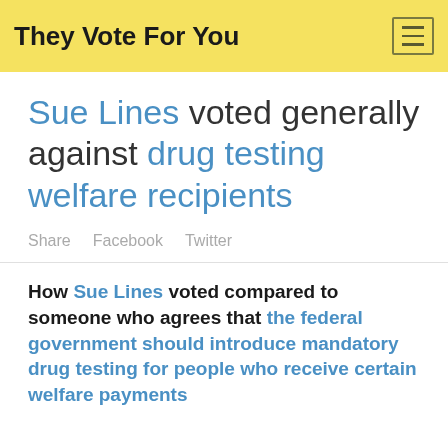They Vote For You
Sue Lines voted generally against drug testing welfare recipients
Share  Facebook  Twitter
How Sue Lines voted compared to someone who agrees that the federal government should introduce mandatory drug testing for people who receive certain welfare payments